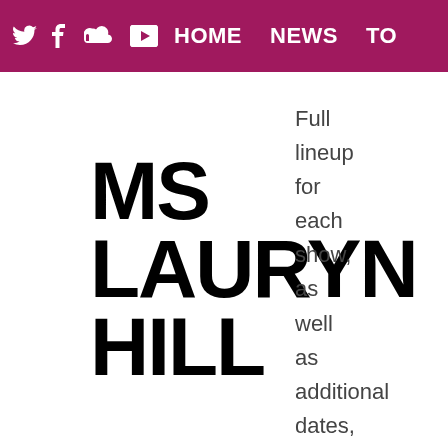Twitter Facebook SoundCloud YouTube HOME NEWS TO
MS LAURYN HILL
Full lineup for each show, as well as additional dates, to be